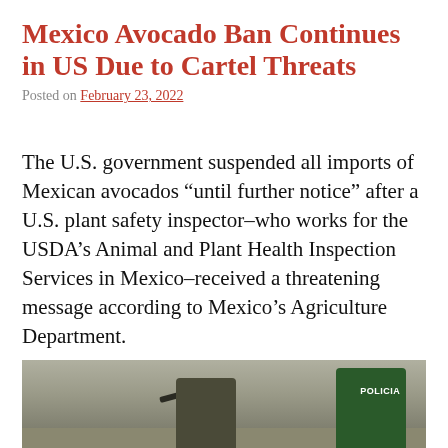Mexico Avocado Ban Continues in US Due to Cartel Threats
Posted on February 23, 2022
The U.S. government suspended all imports of Mexican avocados “until further notice” after a U.S. plant safety inspector–who works for the USDA’s Animal and Plant Health Inspection Services in Mexico–received a threatening message according to Mexico’s Agriculture Department.
[Figure (photo): Photo showing armed individuals, one in military-style clothing holding a rifle and another in a green police vest with POLICIA written on it, apparently in Mexico.]